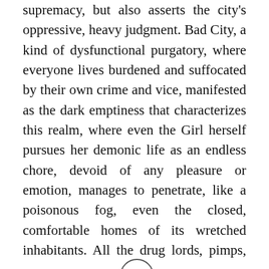supremacy, but also asserts the city's oppressive, heavy judgment. Bad City, a kind of dysfunctional purgatory, where everyone lives burdened and suffocated by their own crime and vice, manifested as the dark emptiness that characterizes this realm, where even the Girl herself pursues her demonic life as an endless chore, devoid of any pleasure or emotion, manages to penetrate, like a poisonous fog, even the closed, comfortable homes of its wretched inhabitants. All the drug lords, pimps, and murderers [scroll button] nothing more than meek, pathetic vermin, desperately fighting for breath, only to be devoured by the dark air's unforgiving emissary.